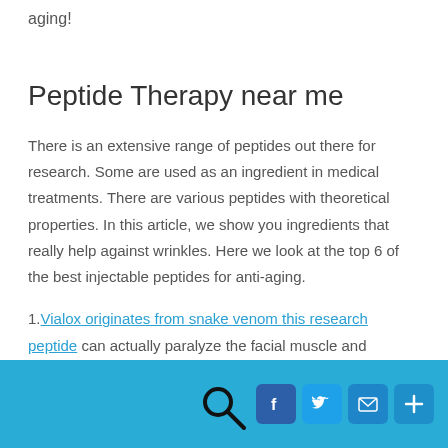aging!
Peptide Therapy near me
There is an extensive range of peptides out there for research. Some are used as an ingredient in medical treatments. There are various peptides with theoretical properties. In this article, we show you ingredients that really help against wrinkles. Here we look at the top 6 of the best injectable peptides for anti-aging.
1. Vialox originates from snake venom this research peptide can actually paralyze the facial muscle and reduce fine lines and wrinkles in the skin.
Social share footer with search icon, Facebook, Twitter, Email, and Plus buttons